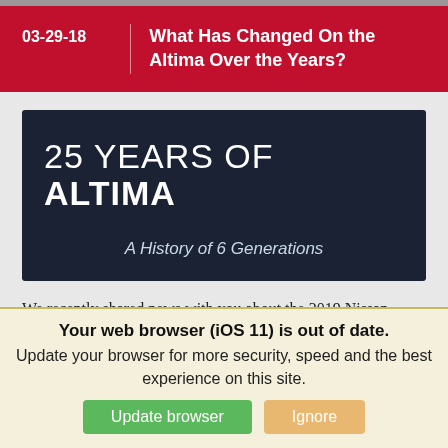03-29-18 | What Has Changed On the Altima Over the Years?
[Figure (illustration): Dark navy banner image with text '25 YEARS OF ALTIMA' and subtitle 'A History of 6 Generations']
We recently shared news with you about the 2019 Nissan Altima and all the exciting changes that will come in the new model year. Sometimes,
Your web browser (iOS 11) is out of date. Update your browser for more security, speed and the best experience on this site.